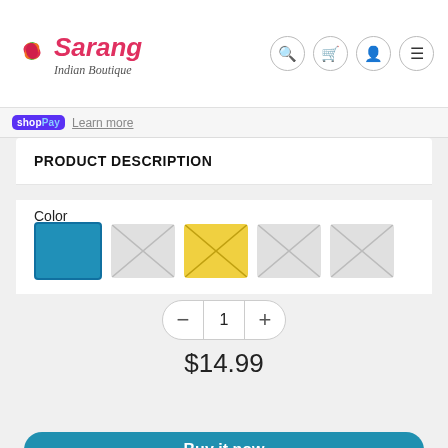Sarang Indian Boutique
shopPay  Learn more
PRODUCT DESCRIPTION
Color
[Figure (other): Color swatches: teal/blue filled, 2 gray placeholder (X), yellow filled, 2 gray placeholder (X)]
1
$14.99
Add to Cart
Buy it now